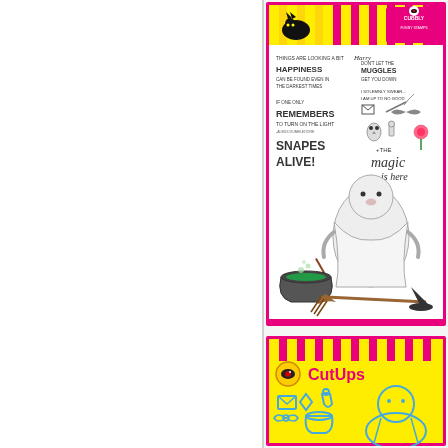[Figure (photo): Left white blank panel, approximately half the page width]
[Figure (photo): Cubbly Funny Stamps product packaging showing a Harry Potter themed stamp set. Yellow and pink striped top border with Cubbly logo and black cat. White stamp sheet area with various wizard/magic themed stamps including text: THINGS ARE LOOKING A BIT Harry, HAPPINESS CAN BE FOUND EVEN IN THE DARKEST TIMES, DON'T LET THE MUGGLES GET YOU DOWN, I SOLEMNLY SWEAR I AM UP TO NO GOOD, IF ONE ONLY REMEMBERS TO TURN ON THE LIGHT -Albus Dumbledore, SNAPES ALIVE!, +THE magic is here. Illustrations include owl, envelope, wand, cauldron, broom, witch hat, and a large cute wizard character. Hot pink border frame.]
[Figure (photo): CutUps product packaging with yellow and pink striped top border. CutUps logo in hot pink text with eye icon badge. Shows light blue die-cut shapes of envelope, diamond, flower/potion, bat, cauldron, and a large wizard character. Yellow background with pink border.]